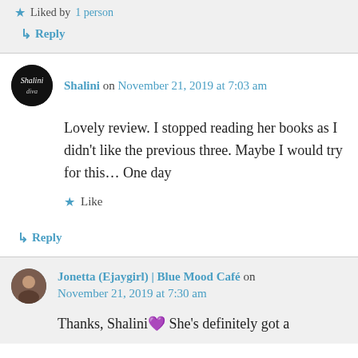★ Liked by 1 person
↳ Reply
Shalini on November 21, 2019 at 7:03 am
Lovely review. I stopped reading her books as I didn't like the previous three. Maybe I would try for this… One day
★ Like
↳ Reply
Jonetta (Ejaygirl) | Blue Mood Café on November 21, 2019 at 7:30 am
Thanks, Shalini 💜 She's definitely got a